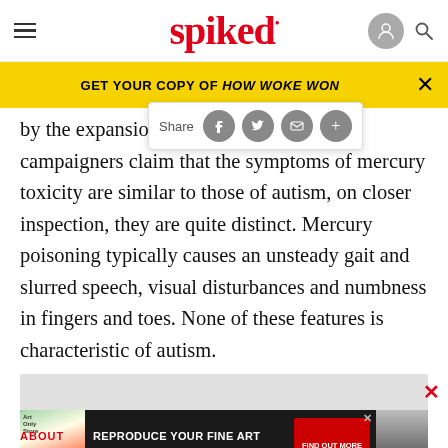spiked
GET YOUR COPY OF HOW WOKE WON
by the expansion of diagnostic criteria, campaigners claim that the symptoms of mercury toxicity are similar to those of autism, on closer inspection, they are quite distinct. Mercury poisoning typically causes an unsteady gait and slurred speech, visual disturbances and numbness in fingers and toes. None of these features is characteristic of autism.
[Figure (screenshot): Share toolbar popup with Facebook, Twitter, email, and more buttons]
[Figure (photo): Advertisement banner: REPRODUCE YOUR FINE ART - JUST GICLEE]
ABOUT